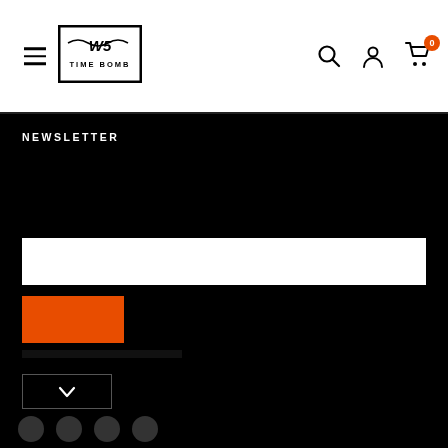Time Bomb - Navigation header with hamburger menu, logo, search, user, and cart icons
NEWSLETTER
[Figure (screenshot): Email input field (white rectangle) for newsletter subscription]
[Figure (screenshot): Orange subscribe/submit button]
[Figure (screenshot): Dropdown selector with chevron arrow]
[Figure (screenshot): Social media icon row at bottom]